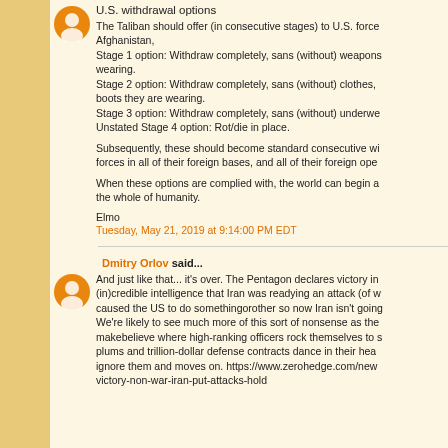U.S. withdrawal options
The Taliban should offer (in consecutive stages) to U.S. forces in Afghanistan,
Stage 1 option: Withdraw completely, sans (without) weapons wearing.
Stage 2 option: Withdraw completely, sans (without) clothes, boots they are wearing.
Stage 3 option: Withdraw completely, sans (without) underwe...
Unstated Stage 4 option: Rot/die in place.
Subsequently, these should become standard consecutive wi... forces in all of their foreign bases, and all of their foreign ope...
When these options are complied with, the world can begin a... the whole of humanity.
Elmo
Tuesday, May 21, 2019 at 9:14:00 PM EDT
Dmitry Orlov said...
And just like that... it's over. The Pentagon declares victory in... (in)credible intelligence that Iran was readying an attack (of w... caused the US to do somethingorother so now Iran isn't going... We're likely to see much more of this sort of nonsense as the... makebelieve where high-ranking officers rock themselves to s... plums and trillion-dollar defense contracts dance in their hea... ignore them and moves on. https://www.zerohedge.com/new... victory-non-war-iran-put-attacks-hold